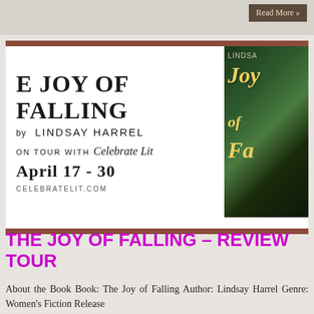Read More »
[Figure (illustration): Book tour promotional banner for 'The Joy of Falling' by Lindsay Harrel. White background with brown top and bottom border stripes. Left side shows title text: 'E JOY OF FALLING' in large bold serif, 'by LINDSAY HARREL', 'ON TOUR WITH Celebrate Lit', 'APRIL 17 - 30', 'CELEBRATELIT.COM'. Right side shows partial book cover with green scenic background and gold script lettering 'Joy of Fa'.]
THE JOY OF FALLING – REVIEW TOUR
About the Book Book: The Joy of Falling Author: Lindsay Harrel Genre: Women's Fiction Release